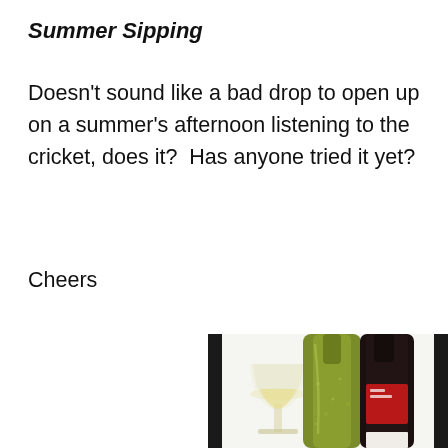Summer Sipping
Doesn't sound like a bad drop to open up on a summer's afternoon listening to the cricket, does it?  Has anyone tried it yet?
Cheers
[Figure (photo): Two wine bottles (one yellow-green, one dark/black with red label) and a glass of white wine on a white background]